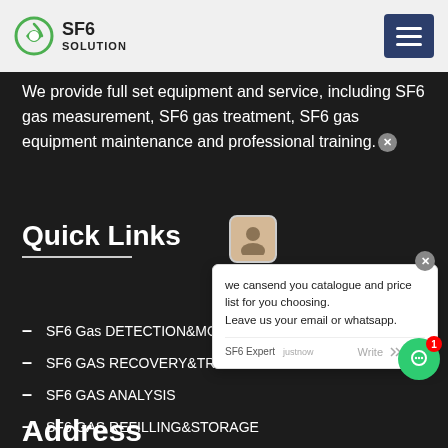SF6 SOLUTION
We provide full set equipment and service, including SF6 gas measurement, SF6 gas treatment, SF6 gas equipment maintenance and professional training.
Quick Links
SF6 Gas DETECTION&MONITORING
SF6 GAS RECOVERY&TREATMENT
SF6 GAS ANALYSIS
SF6 GAS REFILLING&STORAGE
SF6 ACCESSORIES
SF6 SENSOR
Address
we cansend you catalogue and price list for you choosing. Leave us your email or whatsapp.
SF6 Expert  justnow
Write